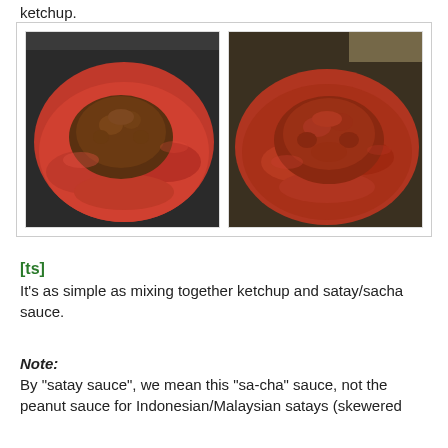ketchup.
[Figure (photo): Two side-by-side photos showing red sauce with a dark brown mound in a metal bowl, before and after mixing.]
[ts]
It's as simple as mixing together ketchup and satay/sacha sauce.
Note:
By "satay sauce", we mean this "sa-cha" sauce, not the peanut sauce for Indonesian/Malaysian satays (skewered